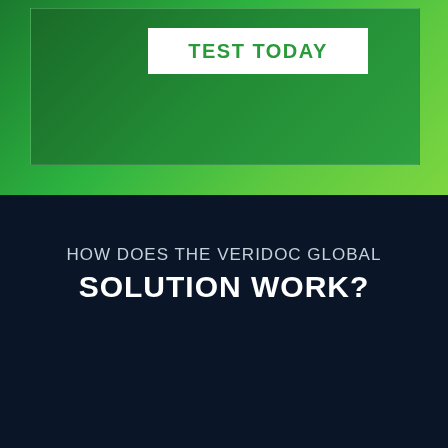[Figure (other): Green gradient banner with a white button labeled TEST TODAY in green uppercase text]
HOW DOES THE VERIDOC GLOBAL SOLUTION WORK?
[Figure (screenshot): Dark blue video player thumbnail with a network diagram graphic and green connecting lines in the lower right corner]